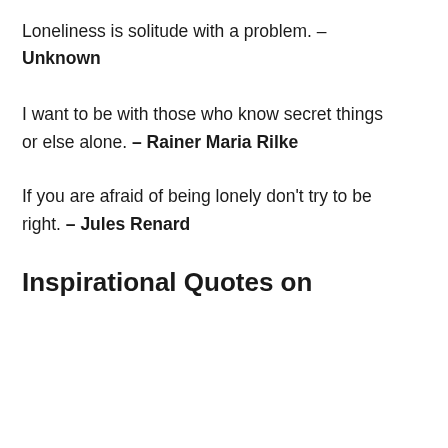Loneliness is solitude with a problem. – Unknown
I want to be with those who know secret things or else alone. – Rainer Maria Rilke
If you are afraid of being lonely don't try to be right. – Jules Renard
Inspirational Quotes on